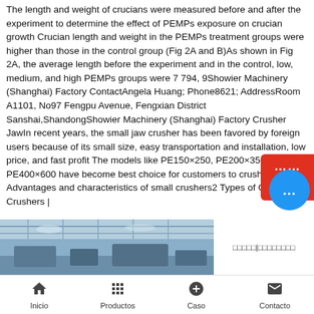The length and weight of crucians were measured before and after the experiment to determine the effect of PEMPs exposure on crucian growth Crucian length and weight in the PEMPs treatment groups were higher than those in the control group (Fig 2A and B)As shown in Fig 2A, the average length before the experiment and in the control, low, medium, and high PEMPs groups were 7 794, 9Showier Machinery (Shanghai) Factory ContactAngela Huang; Phone8621; AddressRoom A1101, No97 Fengpu Avenue, Fengxian District Sanshai,ShandongShowier Machinery (Shanghai) Factory CrusherJawIn recent years, the small jaw crusher has been favored by foreign users because of its small size, easy transportation and installation, low price, and fast profit The models like PE150×250, PE200×350 and PE400×600 have become best choice for customers to crush concrete Advantages and characteristics of small crushers2 Types of Concrete Crushers |
[Figure (photo): Partial view of an industrial or factory interior space, showing ceiling structure and some equipment]
□□□□□|□□□□□□□□
Inicio   Productos   Caso   Contacto